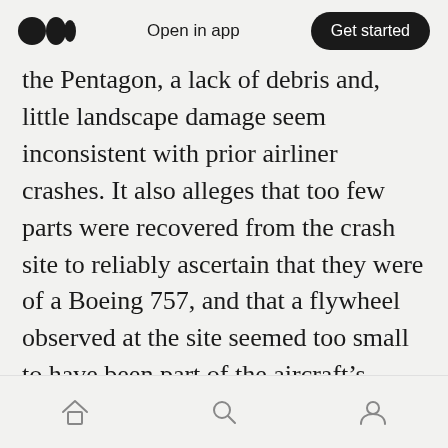Medium logo | Open in app | Get started
the Pentagon, a lack of debris and, little landscape damage seem inconsistent with prior airliner crashes. It also alleges that too few parts were recovered from the crash site to reliably ascertain that they were of a Boeing 757, and that a flywheel observed at the site seemed too small to have been part of the aircraft's engine turbine. Much like their previous 9/11 compatriots, no one from the Loose Change crew managed to interview a single eyewitness but instead relied on the same photos, In Plane Site, used as the entry point of the Pentagon hole which they claim was 16 feet wide.
Home | Search | Profile